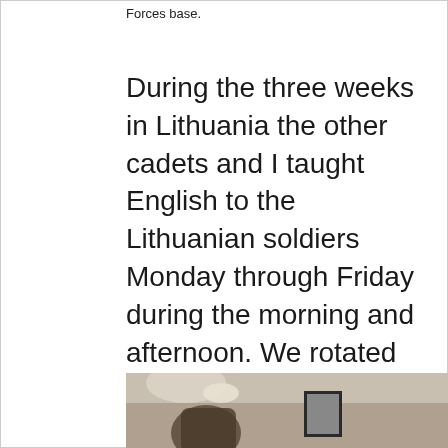Forces base.
During the three weeks in Lithuania the other cadets and I taught English to the Lithuanian soldiers Monday through Friday during the morning and afternoon. We rotated between teaching soldiers on a basic English level, intermediate level and advanced level. The nights and weekends we toured different parts of Lithuania and experienced different aspects of their culture. We toured their national museums, visited an orphanage, toured a World War 2 bunker, shopped in their mall, and saw other major attractions.
[Figure (photo): Photograph showing interior scene, partially visible at bottom of page]